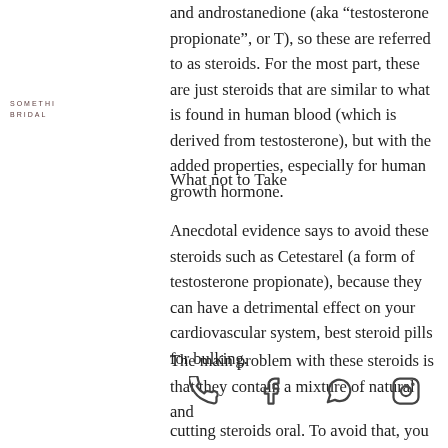[Figure (logo): Something Bridal logo text in uppercase spaced letters]
and androstanedione (aka "testosterone propionate", or T), so these are referred to as steroids. For the most part, these are just steroids that are similar to what is found in human blood (which is derived from testosterone), but with the added properties, especially for human growth hormone.
What not to Take
Anecdotal evidence says to avoid these steroids such as Cetestarel (a form of testosterone propionate), because they can have a detrimental effect on your cardiovascular system, best steroid pills for bulking.
The main problem with these steroids is that they contain a mixture of natural and
[Figure (other): Footer icons: phone, facebook, whatsapp, instagram]
cutting steroids oral. To avoid that, you